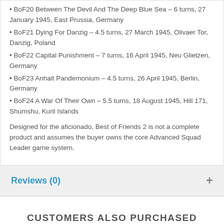BoF20 Between The Devil And The Deep Blue Sea – 6 turns, 27 January 1945, East Prussia, Germany
BoF21 Dying For Danzig – 4.5 turns, 27 March 1945, Olivaer Tor, Danzig, Poland
BoF22 Capital Punishment – 7 turns, 16 April 1945, Neu Glietzen, Germany
BoF23 Anhalt Pandemonium – 4.5 turns, 26 April 1945, Berlin, Germany
BoF24 A War Of Their Own – 5.5 turns, 18 August 1945, Hill 171, Shumshu, Kuril Islands
Designed for the aficionado, Best of Friends 2 is not a complete product and assumes the buyer owns the core Advanced Squad Leader game system.
Reviews (0)
CUSTOMERS ALSO PURCHASED